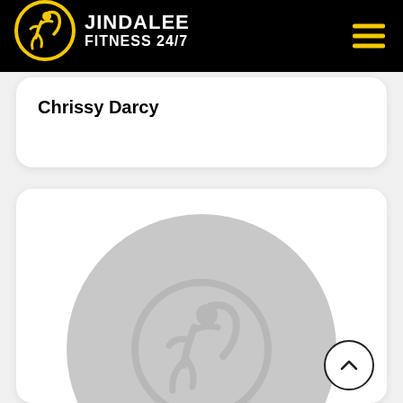Jindalee Fitness 24/7 - navigation bar with logo and hamburger menu
Chrissy Darcy
[Figure (logo): Jindalee Fitness 24/7 circular logo placeholder with grey background and running figure icon]